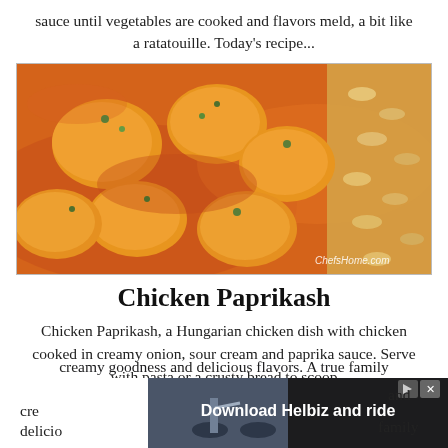sauce until vegetables are cooked and flavors meld, a bit like a ratatouille. Today's recipe...
[Figure (photo): Close-up photo of Chicken Paprikash — pieces of chicken in a rich orange-red paprika cream sauce with fusilli pasta on the right side, garnished with chopped herbs. Watermark: ChefsHome.com]
Chicken Paprikash
Chicken Paprikash, a Hungarian chicken dish with chicken cooked in creamy onion, sour cream and paprika sauce. Serve with pasta or a crusty bread to scoop cre... and delicio... family
[Figure (screenshot): Advertisement banner: 'Download Helbiz and ride' with a scooter image and close/skip buttons]